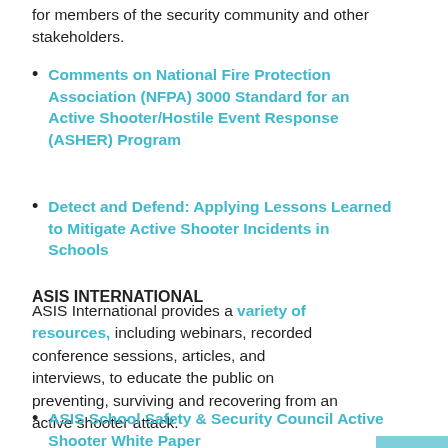for members of the security community and other stakeholders.
Comments on National Fire Protection Association (NFPA) 3000 Standard for an Active Shooter/Hostile Event Response (ASHER) Program
Detect and Defend: Applying Lessons Learned to Mitigate Active Shooter Incidents in Schools
ASIS INTERNATIONAL
ASIS International provides a variety of resources, including webinars, recorded conference sessions, articles, and interviews, to educate the public on preventing, surviving and recovering from an active shooter attack.
ASIS School Safety & Security Council Active Shooter White Paper